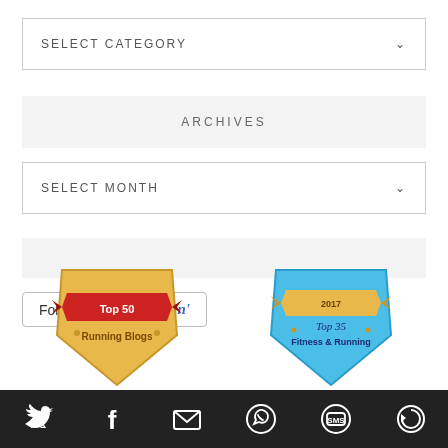SELECT CATEGORY
ARCHIVES
SELECT MONTH
[Figure (illustration): Follow me on bloglovin button]
[Figure (illustration): Two badge images: Top 50 Running Blogs badge (gold/red) and Top 35 Fitness & Running 2017 badge (blue/gold), partially visible at bottom of page]
[Figure (infographic): Dark bottom navigation bar with social media icons: Twitter, Facebook, Email, WhatsApp, SMS, and a circular arrow/refresh icon]